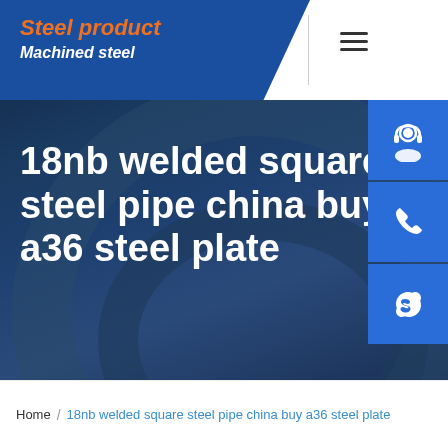Steel product / Machined steel
[Figure (screenshot): Website header with blue trapezoid logo area showing 'Steel product' in orange italic and 'Machined steel' in white bold italic, hamburger menu icon, and dark navy hero background with decorative pipe imagery]
18nb welded square steel pipe china buy a36 steel plate
[Figure (illustration): Blue square icon with white headset/customer support icon]
[Figure (illustration): Blue square icon with white phone icon]
[Figure (illustration): Blue square icon with white Skype icon]
Home / 18nb welded square steel pipe china buy a36 steel plate